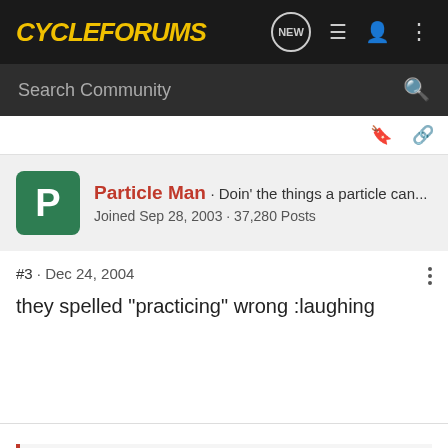CycleForums
Search Community
Particle Man · Doin' the things a particle can... Joined Sep 28, 2003 · 37,280 Posts
#3 · Dec 24, 2004
they spelled "practicing" wrong :laughing
Originally posted by The-Bone
Thought of the day - Handle every stressful situation like a